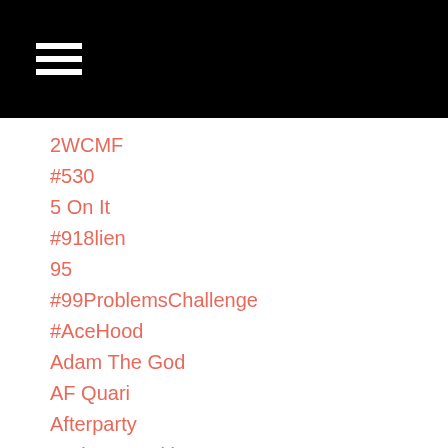2WCMF
#530
5 On It
#918lien
95
#99ProblemsChallenge
#AceHood
Adam The God
AF Quari
Afterparty
A King's Intuition
AlbumReview
#Alkaline
#AllOfThePlayers
Ang
#AreYouDown?
Ayilla
Bambi